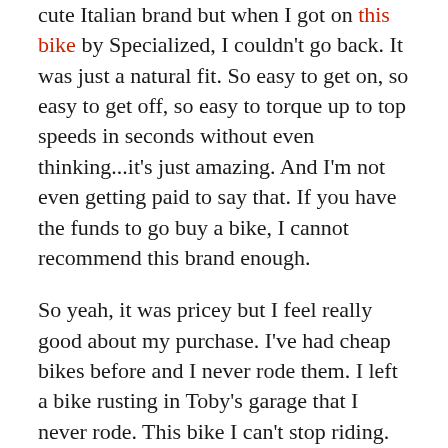cute Italian brand but when I got on this bike by Specialized, I couldn't go back. It was just a natural fit. So easy to get on, so easy to get off, so easy to torque up to top speeds in seconds without even thinking...it's just amazing. And I'm not even getting paid to say that. If you have the funds to go buy a bike, I cannot recommend this brand enough.
So yeah, it was pricey but I feel really good about my purchase. I've had cheap bikes before and I never rode them. I left a bike rusting in Toby's garage that I never rode. This bike I can't stop riding. I'm keeping it in Payam's garage until we move because I don't have room on my balcony and everyday I miss it. I just keep thinking, if my bike was here I could ride up to the store with it, or maybe to the farm across the way or maybe up the highway a bit to that trail I always see out my window and I wonder where it goes. Suzette is